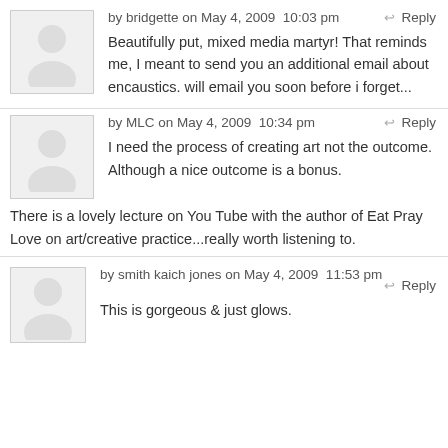by bridgette on May 4, 2009  10:03 pm  Reply
Beautifully put, mixed media martyr! That reminds me, I meant to send you an additional email about encaustics. will email you soon before i forget...
by MLC on May 4, 2009  10:34 pm  Reply
I need the process of creating art not the outcome. Although a nice outcome is a bonus.
There is a lovely lecture on You Tube with the author of Eat Pray Love on art/creative practice...really worth listening to.
by smith kaich jones on May 4, 2009  11:53 pm  Reply
This is gorgeous & just glows.